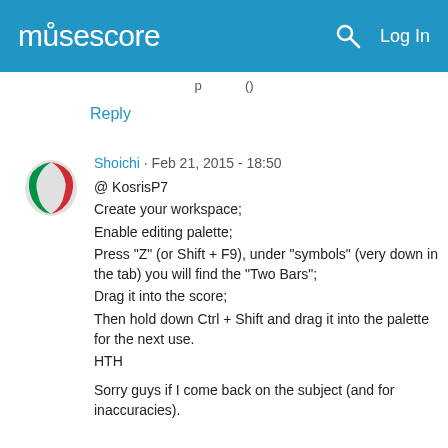musescore  Log In
Reply
Shoichi · Feb 21, 2015 - 18:50
@ KosrisP7
Create your workspace;
Enable editing palette;
Press "Z" (or Shift + F9), under "symbols" (very down in the tab) you will find the "Two Bars";
Drag it into the score;
Then hold down Ctrl + Shift and drag it into the palette for the next use.
HTH

Sorry guys if I come back on the subject (and for inaccuracies).